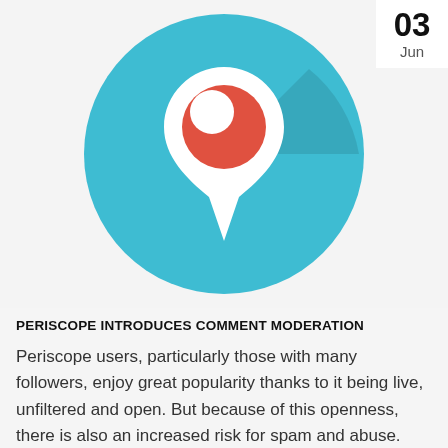[Figure (logo): Periscope app logo: teal/blue circle with white map pin shape containing a red circle with white crescent cutout, on light gray background]
03 Jun
PERISCOPE INTRODUCES COMMENT MODERATION
Periscope users, particularly those with many followers, enjoy great popularity thanks to it being live, unfiltered and open. But because of this openness, there is also an increased risk for spam and abuse. Wanting its users to b